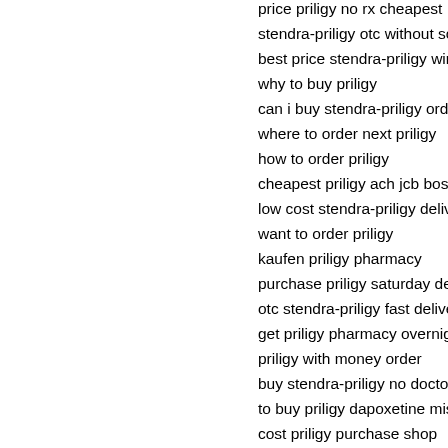price priligy no rx cheapest
stendra-priligy otc without script pharm
best price stendra-priligy wire transfer
why to buy priligy
can i buy stendra-priligy order
where to order next priligy
how to order priligy
cheapest priligy ach jcb boston
low cost stendra-priligy delivery purch
want to order priligy
kaufen priligy pharmacy
purchase priligy saturday delivery
otc stendra-priligy fast delivery
get priligy pharmacy overnight otc
priligy with money order
buy stendra-priligy no doctors
to buy priligy dapoxetine mississippi
cost priligy purchase shop
where can i buy priligy
purchase stendra-priligy check shop h
can i order priligy
want to purchase priligy
cheap priligy in uk
price priligy western union rx
Online pharmacy drugs usually do no
have been picked from top search res